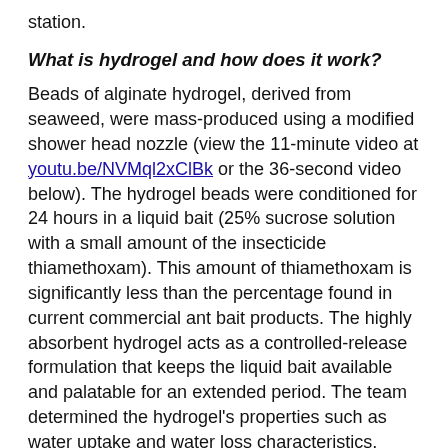station.
What is hydrogel and how does it work?
Beads of alginate hydrogel, derived from seaweed, were mass-produced using a modified shower head nozzle (view the 11-minute video at youtu.be/NVMql2xClBk or the 36-second video below). The hydrogel beads were conditioned for 24 hours in a liquid bait (25% sucrose solution with a small amount of the insecticide thiamethoxam). This amount of thiamethoxam is significantly less than the percentage found in current commercial ant bait products. The highly absorbent hydrogel acts as a controlled-release formulation that keeps the liquid bait available and palatable for an extended period. The team determined the hydrogel's properties such as water uptake and water loss characteristics, pesticide intake, and the acceptance by foraging Argentine ants. In small-scale laboratory tests, the hydrogel bait provided excellent control against all stages (e.g., workers, brood, and queens) of the Argentine ant colony within 14 days.